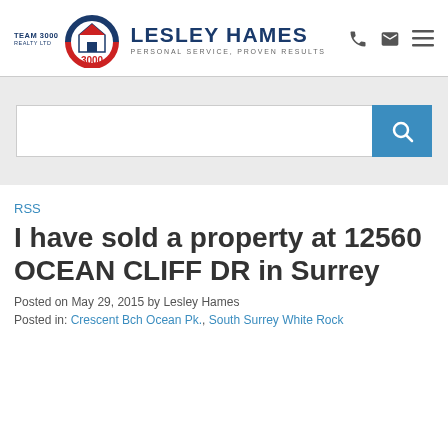[Figure (logo): Team 3000 Realty Ltd logo with Lesley Hames branding, house icon in red/blue/white, agent name and tagline]
[Figure (screenshot): Search bar with text input and blue search button with magnifying glass icon]
RSS
I have sold a property at 12560 OCEAN CLIFF DR in Surrey
Posted on May 29, 2015 by Lesley Hames
Posted in: Crescent Bch Ocean Pk., South Surrey White Rock